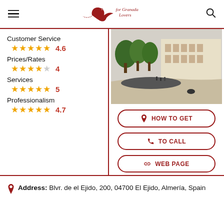for Granada Lovers (logo with navigation icons)
Customer Service
★★★★½ 4.6
Prices/Rates
★★★★☆ 4
Services
★★★★★ 5
Professionalism
★★★★½ 4.7
[Figure (photo): Outdoor plaza with trees and buildings, sandy area in foreground]
HOW TO GET
TO CALL
WEB PAGE
Address: Blvr. de el Ejido, 200, 04700 El Ejido, Almería, Spain